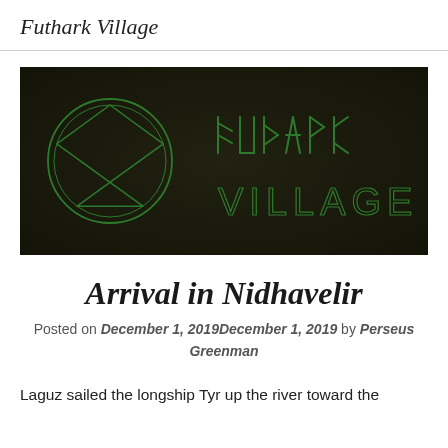Futhark Village
[Figure (illustration): Dark banner image with a green pentagram circle on the left and runic/Elder Futhark text spelling 'FUTHARK' above 'VILLAGE' on the right, all in green on a dark wooden background.]
Arrival in Nidhavelir
Posted on December 1, 2019December 1, 2019 by Perseus Greenman
Laguz sailed the longship Tyr up the river toward the